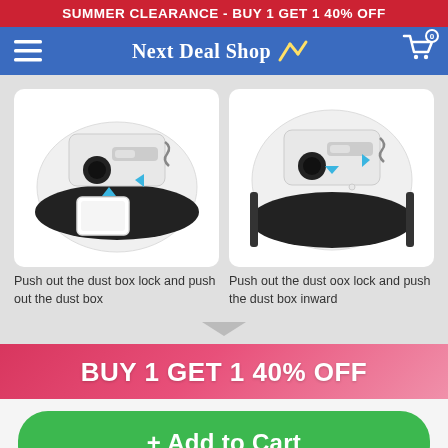SUMMER CLEARANCE - BUY 1 GET 1 40% OFF
[Figure (logo): Next Deal Shop navigation bar with hamburger menu, logo, and shopping cart icon with badge showing 0]
[Figure (photo): Two side-by-side product images of a robot vacuum cleaner showing how to remove and insert the dust box, with blue arrows indicating the direction]
Push out the dust box lock and push out the dust box
Push out the dust oox lock and push the dust box inward
BUY 1 GET 1 40% OFF
+ Add to Cart
Copyright nextdealshop.com